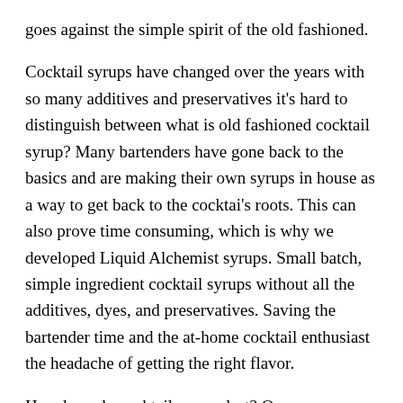goes against the simple spirit of the old fashioned.
Cocktail syrups have changed over the years with so many additives and preservatives it's hard to distinguish between what is old fashioned cocktail syrup? Many bartenders have gone back to the basics and are making their own syrups in house as a way to get back to the cocktai's roots. This can also prove time consuming, which is why we developed Liquid Alchemist syrups. Small batch, simple ingredient cocktail syrups without all the additives, dyes, and preservatives. Saving the bartender time and the at-home cocktail enthusiast the headache of getting the right flavor.
How long do cocktail syrups last? Our syrups can last in